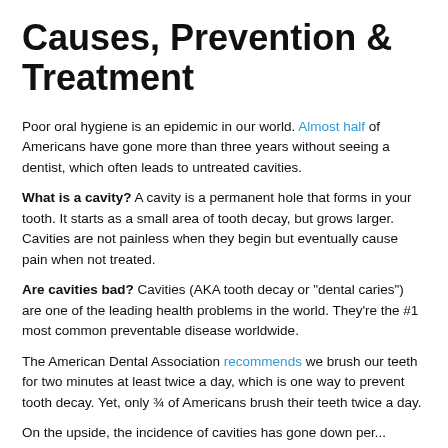Causes, Prevention & Treatment
Poor oral hygiene is an epidemic in our world. Almost half of Americans have gone more than three years without seeing a dentist, which often leads to untreated cavities.
What is a cavity? A cavity is a permanent hole that forms in your tooth. It starts as a small area of tooth decay, but grows larger. Cavities are not painless when they begin but eventually cause pain when not treated.
Are cavities bad? Cavities (AKA tooth decay or "dental caries") are one of the leading health problems in the world. They're the #1 most common preventable disease worldwide.
The American Dental Association recommends we brush our teeth for two minutes at least twice a day, which is one way to prevent tooth decay. Yet, only ¾ of Americans brush their teeth twice a day.
On the upside, the incidence of cavities has gone down per...